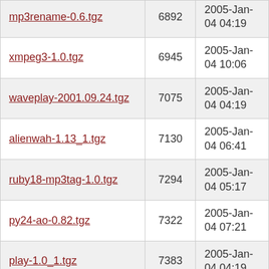| Filename | Size | Date |
| --- | --- | --- |
| mp3rename-0.6.tgz | 6892 | 2005-Jan-04 04:19 |
| xmpeg3-1.0.tgz | 6945 | 2005-Jan-04 10:06 |
| waveplay-2001.09.24.tgz | 7075 | 2005-Jan-04 04:19 |
| alienwah-1.13_1.tgz | 7130 | 2005-Jan-04 06:41 |
| ruby18-mp3tag-1.0.tgz | 7294 | 2005-Jan-04 05:17 |
| py24-ao-0.82.tgz | 7322 | 2005-Jan-04 07:21 |
| play-1.0_1.tgz | 7383 | 2005-Jan-04 04:19 |
| xmms-infopipe-1.3_3.tgz | 7474 | 2005-Jan-04 12:07 |
| xmms-sndfile-1.2.tgz | 7668 | 2005-Jan-04 12:08 |
| id3el-0.05.tgz | 7797 | 2005-Jan-04 05:23 |
| wmfmixer-0.1_1.tgz | 7939 | 2005-Jan-04 08:40 |